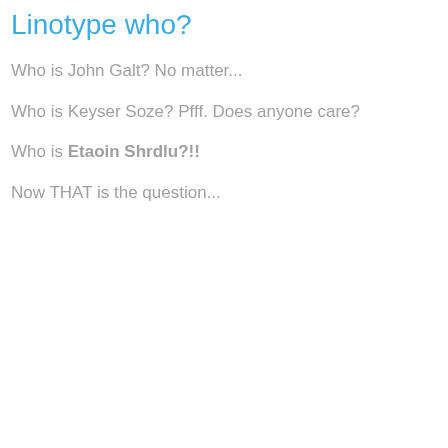Linotype who?
Who is John Galt? No matter...
Who is Keyser Soze? Pfff. Does anyone care?
Who is Etaoin Shrdlu?!!
Now THAT is the question...